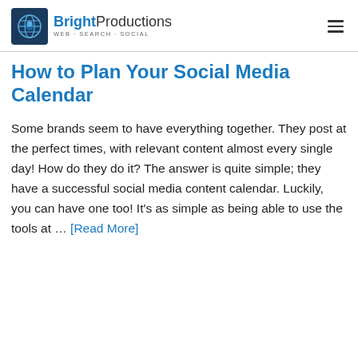[Figure (logo): Bright Productions logo with globe icon and tagline WEB · SEARCH · SOCIAL]
How to Plan Your Social Media Calendar
Some brands seem to have everything together. They post at the perfect times, with relevant content almost every single day! How do they do it? The answer is quite simple; they have a successful social media content calendar. Luckily, you can have one too! It's as simple as being able to use the tools at … [Read More]